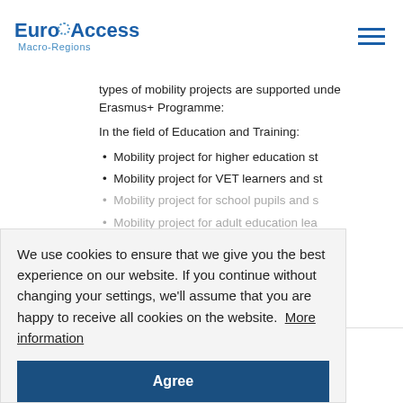EuroAccess Macro-Regions
types of mobility projects are supported under the Erasmus+ Programme:
In the field of Education and Training:
Mobility project for higher education st...
Mobility project for VET learners and st...
Mobility project for school pupils and s...
Mobility project for adult education lea...
Mobility projects for young people - You...
Mobility projects for youth workers
Travel permits in municipalities
Link    Link to Programme
Call    Accredited projects for mobility of learners in education
We use cookies to ensure that we give you the best experience on our website. If you continue without changing your settings, we'll assume that you are happy to receive all cookies on the website. More information